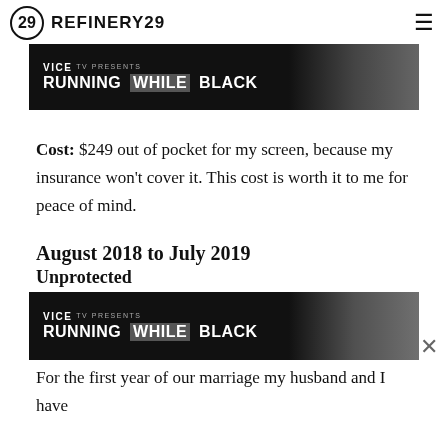REFINERY29
[Figure (screenshot): Vice TV advertisement banner showing 'VICE TV PRESENTS RUNNING WHILE BLACK' with a person in the background, top of page]
Cost: $249 out of pocket for my screen, because my insurance won't cover it. This cost is worth it to me for peace of mind.
August 2018 to July 2019
Unprotected
[Figure (screenshot): Vice TV advertisement banner showing 'VICE TV PRESENTS RUNNING WHILE BLACK' with a person wearing goggles, bottom of page]
For the first year of our marriage my husband and I have